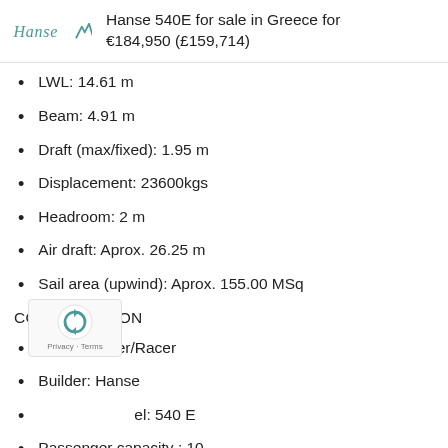Hanse 540E for sale in Greece for €184,950 (£159,714)
LWL: 14.61 m
Beam: 4.91 m
Draft (max/fixed): 1.95 m
Displacement: 23600kgs
Headroom: 2 m
Air draft: Aprox. 26.25 m
Sail area (upwind): Aprox. 155.00 MSq
CONSTRUCTION
Type: Cruiser/Racer
Builder: Hanse
Model: 540 E
Passenger capacity : 10